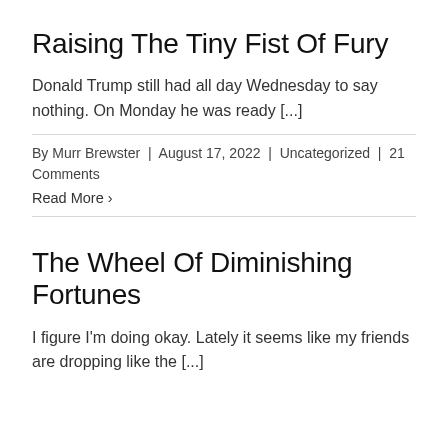Raising The Tiny Fist Of Fury
Donald Trump still had all day Wednesday to say nothing. On Monday he was ready [...]
By Murr Brewster | August 17, 2022 | Uncategorized | 21 Comments
Read More ›
The Wheel Of Diminishing Fortunes
I figure I'm doing okay. Lately it seems like my friends are dropping like the [...]